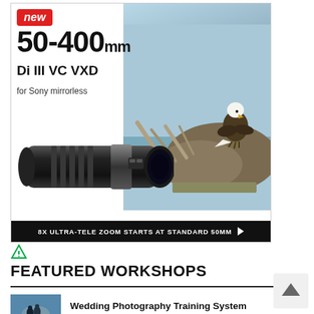[Figure (advertisement): Tamron 50-400mm Di III VC VXD lens advertisement for Sony mirrorless. Shows 'new' badge in red, large lens image, eagle on rock background, CTA bar reading '8X ULTRA-TELE ZOOM STARTS AT STANDARD 50MM']
FEATURED WORKSHOPS
Wedding Photography Training System